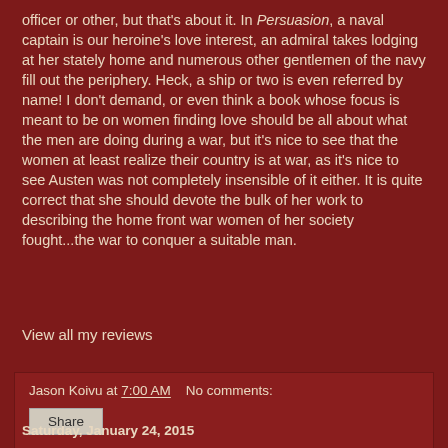officer or other, but that's about it. In Persuasion, a naval captain is our heroine's love interest, an admiral takes lodging at her stately home and numerous other gentlemen of the navy fill out the periphery. Heck, a ship or two is even referred by name! I don't demand, or even think a book whose focus is meant to be on women finding love should be all about what the men are doing during a war, but it's nice to see that the women at least realize their country is at war, as it's nice to see Austen was not completely insensible of it either. It is quite correct that she should devote the bulk of her work to describing the home front war women of her society fought...the war to conquer a suitable man.
View all my reviews
Jason Koivu at 7:00 AM   No comments:
Share
Saturday, January 24, 2015